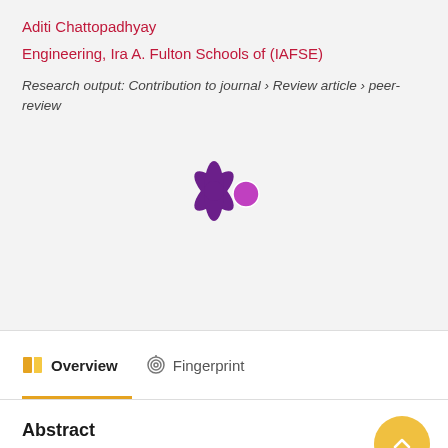Aditi Chattopadhyay
Engineering, Ira A. Fulton Schools of (IAFSE)
Research output: Contribution to journal › Review article › peer-review
[Figure (logo): Altmetric snowflake/asterisk logo in dark purple with a magenta/orange circle on the right side]
Overview
Fingerprint
Abstract
This article presents a molecular dynamics (MD)-aided multiscale